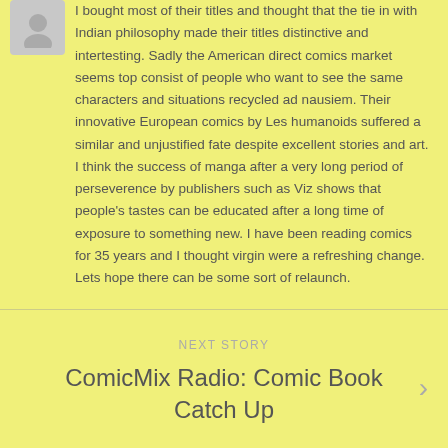I bought most of their titles and thought that the tie in with Indian philosophy made their titles distinctive and intertesting. Sadly the American direct comics market seems top consist of people who want to see the same characters and situations recycled ad nausiem. Their innovative European comics by Les humanoids suffered a similar and unjustified fate despite excellent stories and art. I think the success of manga after a very long period of perseverence by publishers such as Viz shows that people's tastes can be educated after a long time of exposure to something new. I have been reading comics for 35 years and I thought virgin were a refreshing change. Lets hope there can be some sort of relaunch.
NEXT STORY
ComicMix Radio: Comic Book Catch Up